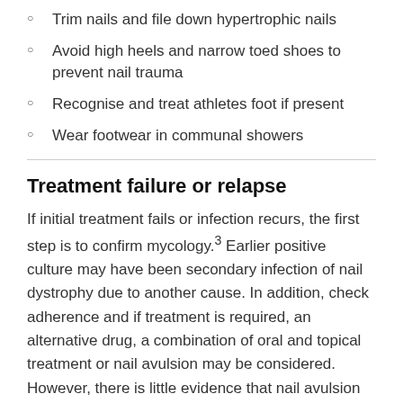Trim nails and file down hypertrophic nails
Avoid high heels and narrow toed shoes to prevent nail trauma
Recognise and treat athletes foot if present
Wear footwear in communal showers
Treatment failure or relapse
If initial treatment fails or infection recurs, the first step is to confirm mycology.3 Earlier positive culture may have been secondary infection of nail dystrophy due to another cause. In addition, check adherence and if treatment is required, an alternative drug, a combination of oral and topical treatment or nail avulsion may be considered. However, there is little evidence that nail avulsion increases cure rates.2,11